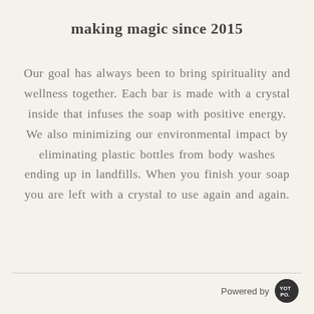making magic since 2015
Our goal has always been to bring spirituality and wellness together. Each bar is made with a crystal inside that infuses the soap with positive energy. We also minimizing our environmental impact by eliminating plastic bottles from body washes ending up in landfills. When you finish your soap you are left with a crystal to use again and again.
Powered by YOTPO.